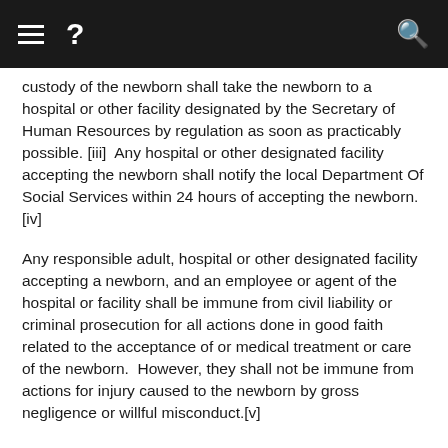≡  ?  🔍
custody of the newborn shall take the newborn to a hospital or other facility designated by the Secretary of Human Resources by regulation as soon as practicably possible. [iii]  Any hospital or other designated facility accepting the newborn shall notify the local Department Of Social Services within 24 hours of accepting the newborn. [iv]
Any responsible adult, hospital or other designated facility accepting a newborn, and an employee or agent of the hospital or facility shall be immune from civil liability or criminal prosecution for all actions done in good faith related to the acceptance of or medical treatment or care of the newborn.  However, they shall not be immune from actions for injury caused to the newborn by gross negligence or willful misconduct.[v]